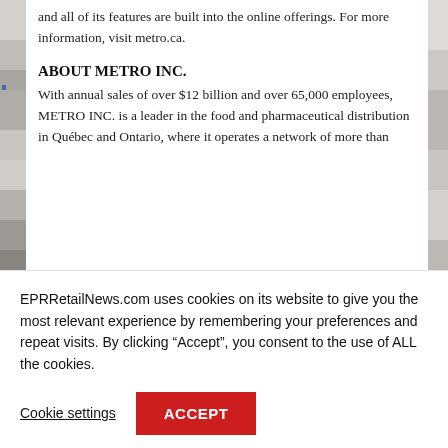[Figure (photo): Left and right side strips of a retail/pharmacy store image, partially cropped, shown as vertical bands on either side of the text column]
and all of its features are built into the online offerings. For more information, visit metro.ca.
ABOUT METRO INC.
With annual sales of over $12 billion and over 65,000 employees, METRO INC. is a leader in the food and pharmaceutical distribution in Québec and Ontario, where it operates a network of more than
EPRRetailNews.com uses cookies on its website to give you the most relevant experience by remembering your preferences and repeat visits. By clicking “Accept”, you consent to the use of ALL the cookies.
Cookie settings
ACCEPT